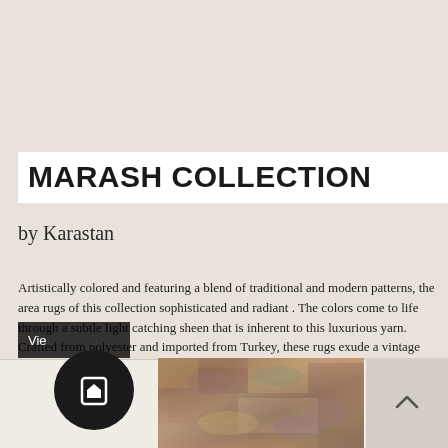MARASH COLLECTION
by Karastan
Artistically colored and featuring a blend of traditional and modern patterns, the area rugs of this collection sophisticated and radiant . The colors come to life through a subtle light catching sheen that is inherent to this luxurious yarn. Crafted from polyester and imported from Turkey, these rugs exude a vintage flair. An added element of textural interest is provided by a micro-fringe finish that creates visual interest reminiscent of heirloom quality rugs
[Figure (photo): A rug product photo showing multicolor vintage-style rug texture with warm earth tones]
[Figure (logo): Circular dark icon with a play/bookmark symbol, overlapping a 'View' button bar]